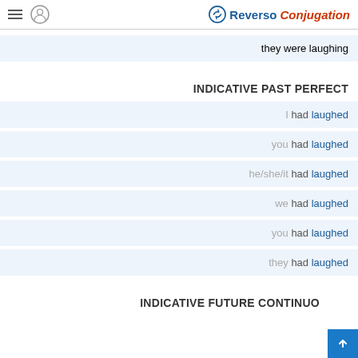Reverso Conjugation
they were laughing
INDICATIVE PAST PERFECT
I had laughed
you had laughed
he/she/it had laughed
we had laughed
you had laughed
they had laughed
INDICATIVE FUTURE CONTINUOUS